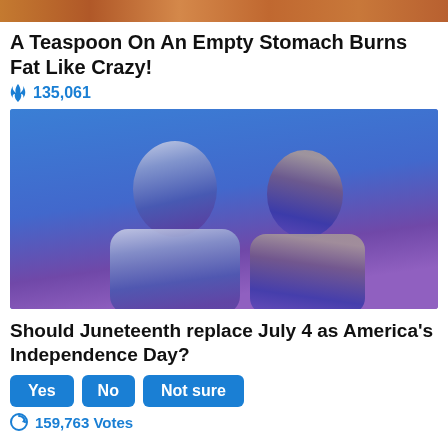[Figure (photo): Top partial image strip showing warm-toned food/autumn background]
A Teaspoon On An Empty Stomach Burns Fat Like Crazy!
🔥 135,061
[Figure (photo): Photo of two people (Biden and Harris) on blue-to-purple gradient background]
Should Juneteenth replace July 4 as America's Independence Day?
Yes  No  Not sure
🔄 159,763 Votes